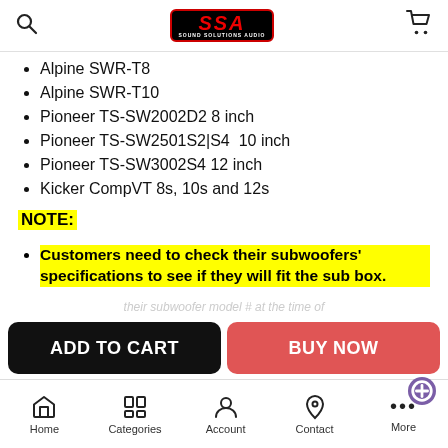Sound Solutions Audio (SSA) logo, search icon, cart icon
Alpine SWR-T8
Alpine SWR-T10
Pioneer TS-SW2002D2 8 inch
Pioneer TS-SW2501S2|S4  10 inch
Pioneer TS-SW3002S4 12 inch
Kicker CompVT 8s, 10s and 12s
NOTE:
Customers need to check their subwoofers' specifications to see if they will fit the sub box.
Home | Categories | Account | Contact | More